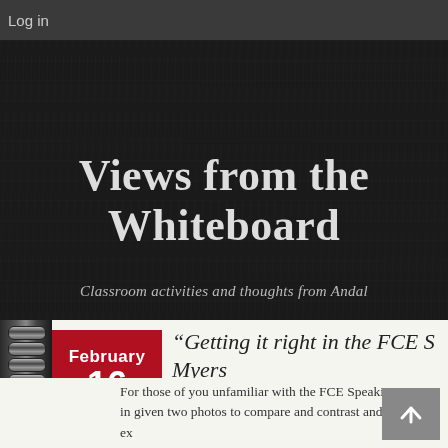Log in
[Figure (illustration): Dark wood-textured banner background with site title and subtitle]
Views from the Whiteboard
Classroom activities and thoughts from Andal
“Getting it right in the FCE S… Myers…
February 16
For those of you unfamiliar with the FCE Speaking exam, in… given two photos to compare and contrast and then the ex…